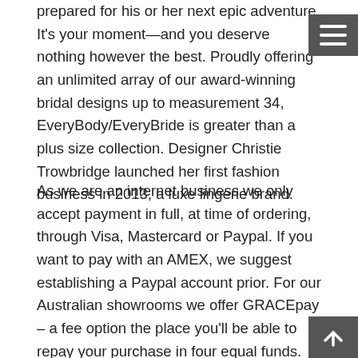prepared for his or her next epic adventure. It's your moment—and you deserve nothing however the best. Proudly offering an unlimited array of our award-winning bridal designs up to measurement 34, EveryBody/EveryBride is greater than a plus size collection. Designer Christie Trowbridge launched her first fashion business in 2013, a luxe lingerie brand.
As we are an internet business we only accept payment in full, at time of ordering, through Visa, Mastercard or Paypal. If you want to pay with an AMEX, we suggest establishing a Paypal account prior. For our Australian showrooms we offer GRACEpay – a fee option the place you'll be able to repay your purchase in four equal funds. Several thousand Japanese who were despatched as colonizers to Manchukuo and Inner Mongolia were left behind in China. The majority of Japanese left behind in China were ladies, and these Japanese women largely married Chinese men and became generally known as «stranded warfare wives». Because they'd kids fathered by